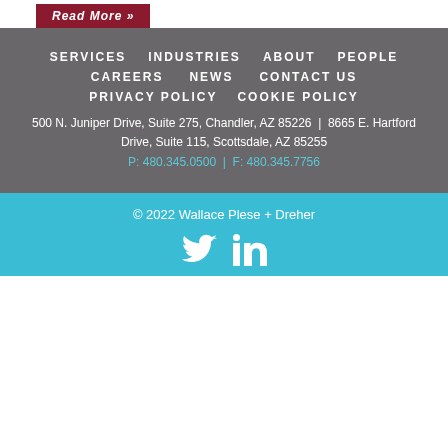Read More »
SERVICES
INDUSTRIES
ABOUT
PEOPLE
CAREERS
NEWS
CONTACT US
PRIVACY POLICY
COOKIE POLICY
500 N. Juniper Drive, Suite 275, Chandler, AZ 85226 | 8665 E. Hartford Drive, Suite 115, Scottsdale, AZ 85255
P: 480.345.0500 | F: 480.345.7756
© 2022 Wallace Plese + Dreher
[Figure (illustration): Twitter and LinkedIn social media icons]